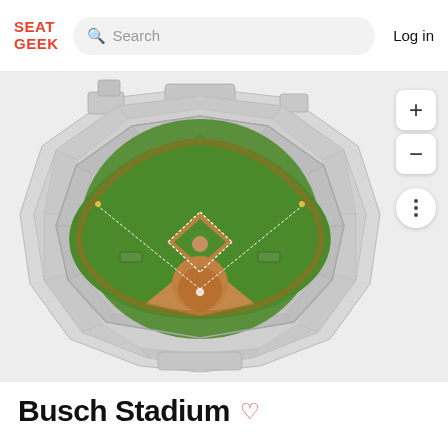SEAT GEEK | Search | Log in
[Figure (map): Aerial/overhead stadium map of Busch Stadium showing a baseball diamond layout with green outfield, brown infield dirt, seating sections arranged in concentric rings around the field, and various structural elements of the stadium exterior]
Busch Stadium ♡